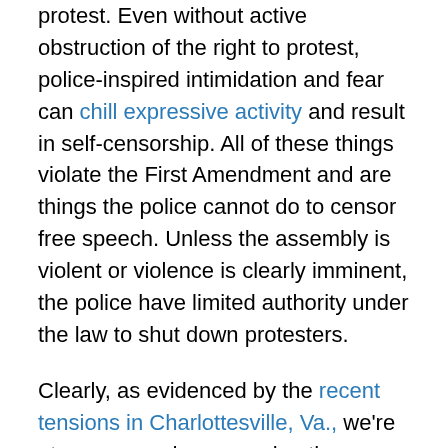protest. Even without active obstruction of the right to protest, police-inspired intimidation and fear can chill expressive activity and result in self-censorship. All of these things violate the First Amendment and are things the police cannot do to censor free speech. Unless the assembly is violent or violence is clearly imminent, the police have limited authority under the law to shut down protesters.
Clearly, as evidenced by the recent tensions in Charlottesville, Va., we're at a crossroads concerning the constitutional right to free speech.
As Benjamin Franklin warned, "Whoever would overthrow the liberty of a nation must begin by subduing the freeness of speech."
It must be emphasized that it was for the sake of